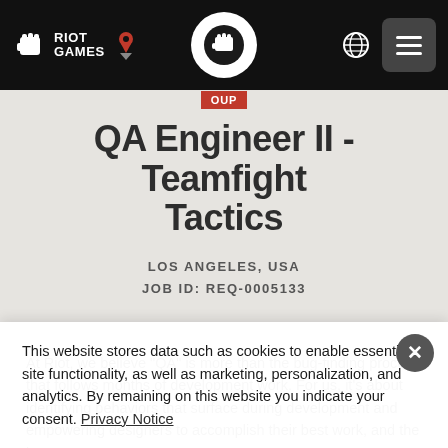Riot Games – Navigation bar with logo, location pin, center circular icon, globe icon, and hamburger menu
QA Engineer II - Teamfight Tactics
LOS ANGELES, USA
JOB ID: REQ-0005133
At Riot, we believe "QA" is more than the bug-finding process that follows months of development work. For us, it's about identifying behaviors that surface during development and empowering designers to accomplish their best work, and the best way to
This website stores data such as cookies to enable essential site functionality, as well as marketing, personalization, and analytics. By remaining on this website you indicate your consent. Privacy Notice